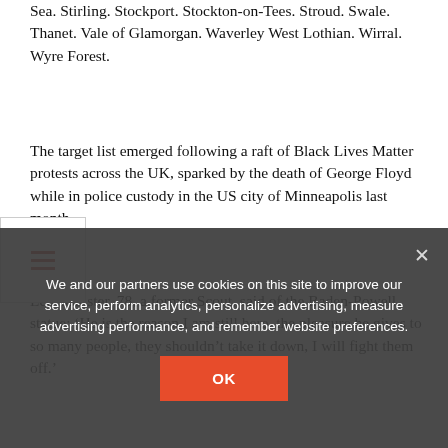Sea. Stirling. Stockport. Stockton-on-Tees. Stroud. Swale. Thanet. Vale of Glamorgan. Waverley West Lothian. Wirral. Wyre Forest.
The target list emerged following a raft of Black Lives Matter protests across the UK, sparked by the death of George Floyd while in police custody in the US city of Minneapolis last month.
Len Banister, 78, a former Scout, said of the Baden-Powell statue: ‘He is the reason I am still here, the pleasure he gives to so many people, they shouldn’t take it down, I will fight them off.’
Spencer Tuck, 35, said: ‘Unfortunately he was in fascist
We and our partners use cookies on this site to improve our service, perform analytics, personalize advertising, measure advertising performance, and remember website preferences.